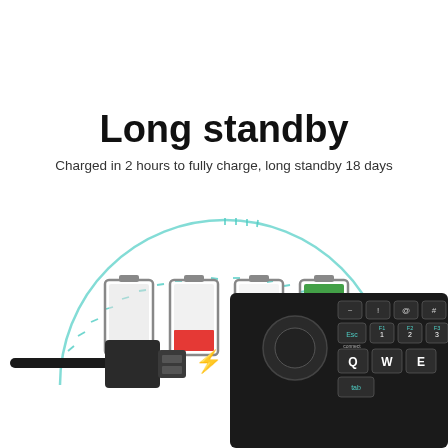Long standby
Charged in 2 hours to fully charge, long standby 18 days
[Figure (infographic): Semicircular arc with tick marks in teal/mint color, with four battery icons below showing charge levels from empty to full: empty (grey), low (red), medium (yellow), full (green)]
[Figure (photo): Micro USB cable connector with lightning bolt symbol indicating charging]
[Figure (photo): Black mini wireless keyboard with touchpad, showing keys Q, W, E, Esc, F1, F2, F3 and other keys]